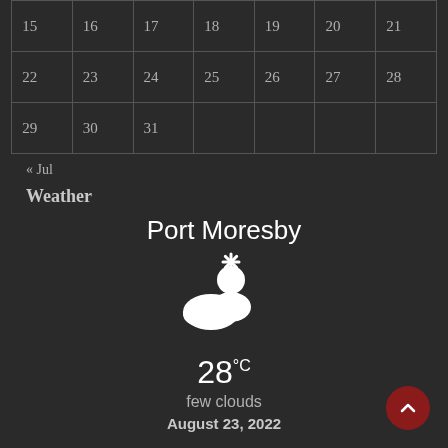| 15 | 16 | 17 | 18 | 19 | 20 | 21 |
| --- | --- | --- | --- | --- | --- | --- |
| 22 | 23 | 24 | 25 | 26 | 27 | 28 |
| 29 | 30 | 31 |  |  |  |  |
« Jul
Weather
Port Moresby
[Figure (illustration): Partly cloudy weather icon - white cloud with sun rays]
28°C
few clouds
August 23, 2022